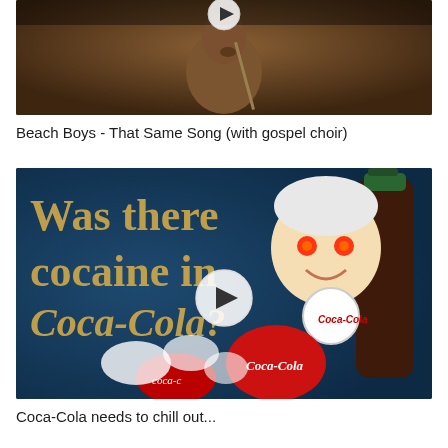[Figure (screenshot): Video thumbnail showing a man in a brownish robe, blurred background, with a circular play button overlay at top center.]
Beach Boys - That Same Song (with gospel choir)
[Figure (screenshot): Video thumbnail of a vintage Coca-Cola advertisement modified with text 'Was there cocaine in Coca-Cola?' overlaid in gold script, featuring a cartoon character with glowing red eyes, a Coca-Cola bottle, and bottle caps. A circular play button is centered.]
Coca-Cola needs to chill out...